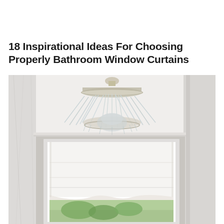18 Inspirational Ideas For Choosing Properly Bathroom Window Curtains
[Figure (photo): Interior bathroom photo showing a crystal semi-flush ceiling chandelier above a large window dressed with a white roman shade curtain, with white marble walls and moulding visible.]